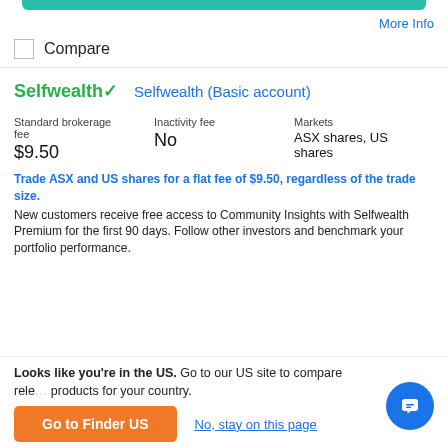More Info
Compare
Selfwealth✓
Selfwealth (Basic account)
| Standard brokerage fee | Inactivity fee | Markets |
| --- | --- | --- |
| $9.50 | No | ASX shares, US shares |
Trade ASX and US shares for a flat fee of $9.50, regardless of the trade size. New customers receive free access to Community Insights with Selfwealth Premium for the first 90 days. Follow other investors and benchmark your portfolio performance.
Looks like you're in the US. Go to our US site to compare relevant products for your country.
Go to Finder US
No, stay on this page